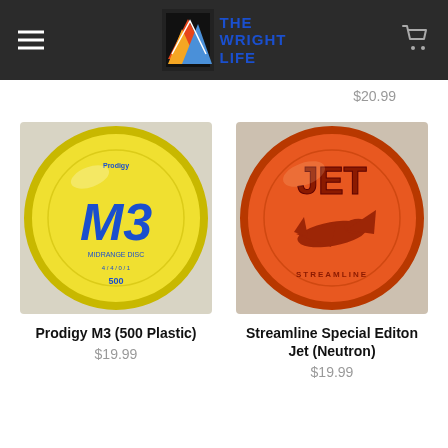The Wright Life
$20.99
[Figure (photo): Yellow Prodigy M3 500 Plastic midrange disc golf disc]
Prodigy M3 (500 Plastic)
$19.99
[Figure (photo): Orange Streamline Special Edition Jet Neutron disc golf disc]
Streamline Special Editon Jet (Neutron)
$19.99